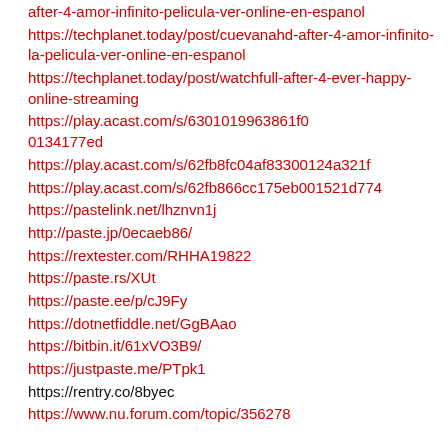after-4-amor-infinito-pelicula-ver-online-en-espanol
https://techplanet.today/post/cuevanahd-after-4-amor-infinito-la-pelicula-ver-online-en-espanol
https://techplanet.today/post/watchfull-after-4-ever-happy-online-streaming
https://play.acast.com/s/6301019963861f00134177ed
https://play.acast.com/s/62fb8fc04af83300124a321f
https://play.acast.com/s/62fb866cc175eb001521d774
https://pastelink.net/lhznvn1j
http://paste.jp/0ecaeb86/
https://rextester.com/RHHA19822
https://paste.rs/XUt
https://paste.ee/p/cJ9Fy
https://dotnetfiddle.net/GgBAao
https://bitbin.it/61xVO3B9/
https://justpaste.me/PTpk1
https://rentry.co/8byec
https://www.nu.forum.com/topic/356278